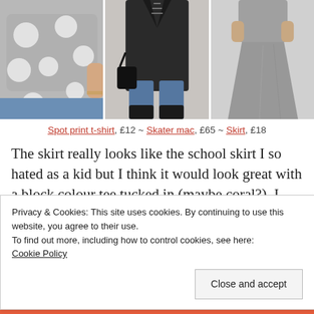[Figure (photo): Three fashion product photos side by side: a grey polka dot t-shirt, a black skater mac coat with jeans, and a grey skirt.]
Spot print t-shirt, £12 ~ Skater mac, £65 ~ Skirt, £18
The skirt really looks like the school skirt I so hated as a kid but I think it would look great with a block colour tee tucked in (maybe coral?). I love the polka dots and the mac is a bit of a lustful piece but I can image myself
Privacy & Cookies: This site uses cookies. By continuing to use this website, you agree to their use.
To find out more, including how to control cookies, see here:
Cookie Policy

Close and accept